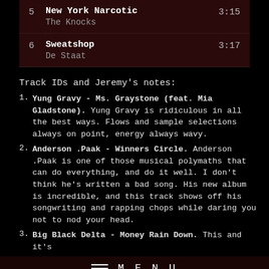| # | Title / Artist | Duration |
| --- | --- | --- |
| 5 | New York Narcotic
The Knocks | 3:15 |
| 6 | Sweatshop
De Staat | 3:17 |
Track IDs and Jeremy's notes:
Yung Gravy - Ms. Graystone (feat. Mia Gladstone). Yung Gravy is ridiculous in all the best ways. Flows and sample selections always on point, energy always wavy.
Anderson .Paak - Winners Circle. Anderson .Paak is one of those musical polymaths that can do everything, and do it well. I don't think he's written a bad song. His new album is incredible, and this track shows off his songwriting and rapping chops while daring you not to nod your head.
Big Black Delta - Money Rain Down. This and it's
MENU
Louis Cole - Weird Part of The Night. Louis Cole is a